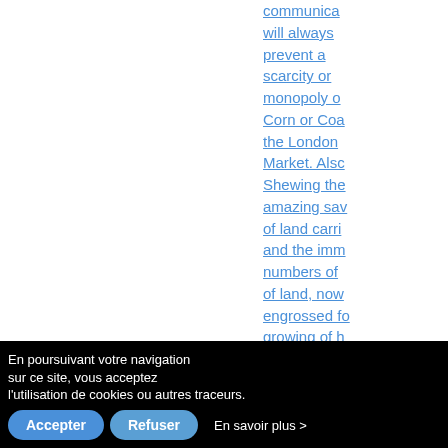communications will always prevent a scarcity or monopoly of Corn or Coal in the London Market. Also Shewing the amazing saving of land carriage and the immense numbers of of land, now engrossed for growing of hay corn, only for horses employed in land carriage in these three
En poursuivant votre navigation sur ce site, vous acceptez l'utilisation de cookies ou autres traceurs.  En savoir plus >